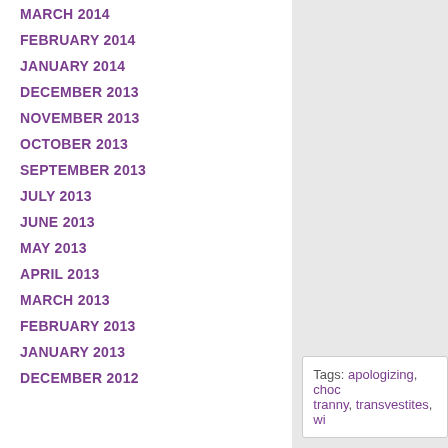MARCH 2014
FEBRUARY 2014
JANUARY 2014
DECEMBER 2013
NOVEMBER 2013
OCTOBER 2013
SEPTEMBER 2013
JULY 2013
JUNE 2013
MAY 2013
APRIL 2013
MARCH 2013
FEBRUARY 2013
JANUARY 2013
DECEMBER 2012
Tags: apologizing, choc... tranny, transvestites, wi...